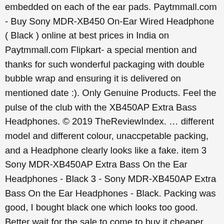embedded on each of the ear pads. Paytmmall.com - Buy Sony MDR-XB450 On-Ear Wired Headphone ( Black ) online at best prices in India on Paytmmall.com Flipkart- a special mention and thanks for such wonderful packaging with double bubble wrap and ensuring it is delivered on mentioned date :). Only Genuine Products. Feel the pulse of the club with the XB450AP Extra Bass Headphones. © 2019 TheReviewIndex. ... different model and different colour, unaccpetable packing, and a Headphone clearly looks like a fake. item 3 Sony MDR-XB450AP Extra Bass On the Ear Headphones - Black 3 - Sony MDR-XB450AP Extra Bass On the Ear Headphones - Black. Packing was good, I bought black one which looks too good. Better wait for the sale to come to buy it cheaper. Additionally, the closed back design of the headband ensures that the sound is sealed off within your listening range. Despite efforts made to combat its prevalence, there exists a rampant grey secondary market for headphones and audio equipment. Overall a good product at this price range . can I use this for hearing of talk on mobile (use mike for talking and